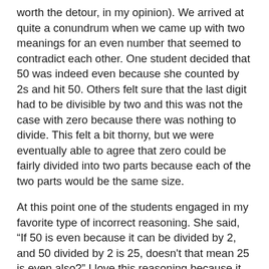worth the detour, in my opinion). We arrived at quite a conundrum when we came up with two meanings for an even number that seemed to contradict each other. One student decided that 50 was indeed even because she counted by 2s and hit 50. Others felt sure that the last digit had to be divisible by two and this was not the case with zero because there was nothing to divide. This felt a bit thorny, but we were eventually able to agree that zero could be fairly divided into two parts because each of the two parts would be the same size.
At this point one of the students engaged in my favorite type of incorrect reasoning. She said, “If 50 is even because it can be divided by 2, and 50 divided by 2 is 25, doesn't that mean 25 is even also?” I love this reasoning because it isn’t really incorrect at all, it’s just incomplete. This student was stretching, looking for patterns, making a conjecture. She was being mathematically adventurous. She just